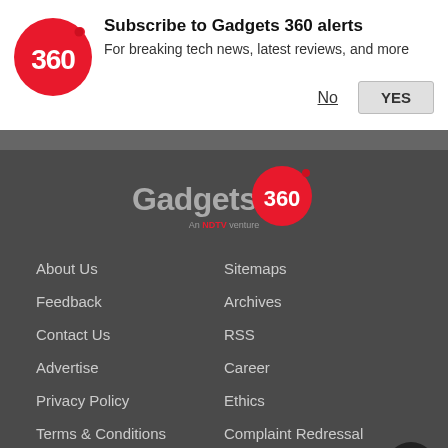[Figure (logo): Gadgets 360 logo circle with 360 text in white on red background]
Subscribe to Gadgets 360 alerts
For breaking tech news, latest reviews, and more
No
YES
[Figure (logo): Gadgets 360 footer logo with red circle and 'An NDTV venture' text]
About Us
Sitemaps
Feedback
Archives
Contact Us
RSS
Advertise
Career
Privacy Policy
Ethics
Terms & Conditions
Complaint Redressal
Gadgets 360 is available in